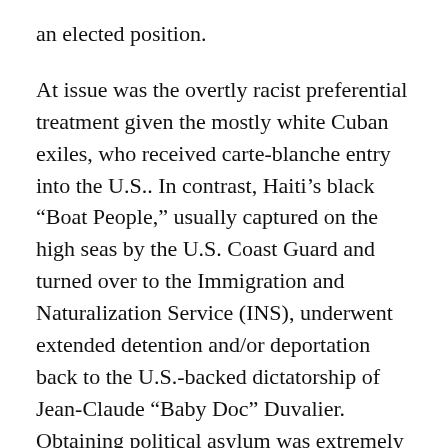an elected position.
At issue was the overtly racist preferential treatment given the mostly white Cuban exiles, who received carte-blanche entry into the U.S.. In contrast, Haiti’s black “Boat People,” usually captured on the high seas by the U.S. Coast Guard and turned over to the Immigration and Naturalization Service (INS), underwent extended detention and/or deportation back to the U.S.-backed dictatorship of Jean-Claude “Baby Doc” Duvalier. Obtaining political asylum was extremely rare for Haitians, but quite routine for Cuban exiles. In time, under the leadership of famed immigration lawyer